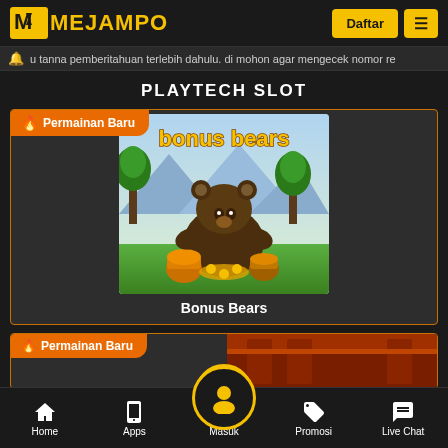MEJAMPO — Daftar
u tanna pemberitahuan terlebih dahulu. di mohon agar mengecek nomor re
PLAYTECH SLOT
[Figure (screenshot): Game card: Permainan Baru badge, Bonus Bears slot game image with bear and honey pots in forest scene]
Bonus Bears
[Figure (screenshot): Second game card: Permainan Baru badge, partially visible slot game with orange/red temple background]
Home  Apps  Masuk  Promosi  Live Chat